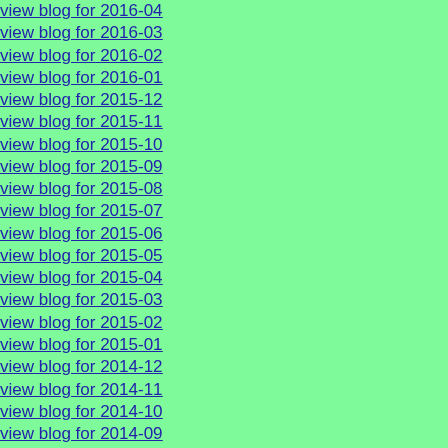view blog for 2016-04
view blog for 2016-03
view blog for 2016-02
view blog for 2016-01
view blog for 2015-12
view blog for 2015-11
view blog for 2015-10
view blog for 2015-09
view blog for 2015-08
view blog for 2015-07
view blog for 2015-06
view blog for 2015-05
view blog for 2015-04
view blog for 2015-03
view blog for 2015-02
view blog for 2015-01
view blog for 2014-12
view blog for 2014-11
view blog for 2014-10
view blog for 2014-09
view blog for 2014-08
view blog for 2014-07
view blog for 2014-06
view blog for 2014-05
view blog for 2014-04